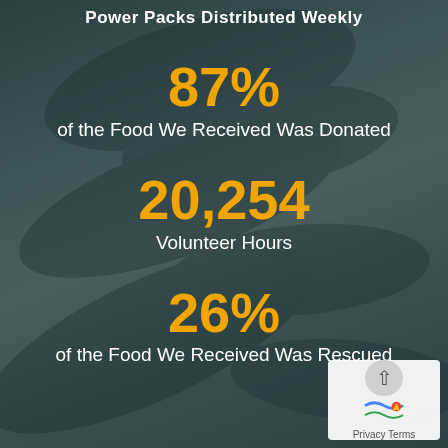Power Packs Distributed Weekly
87%
of the Food We Received Was Donated
20,254
Volunteer Hours
26%
of the Food We Received Was Rescued